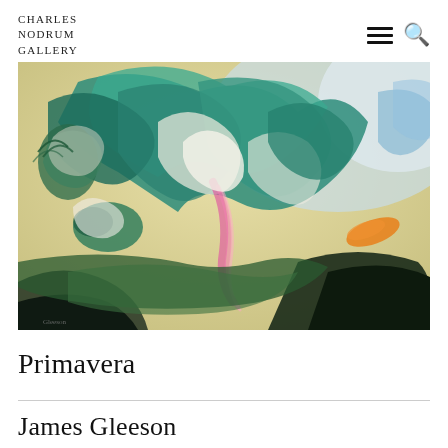Charles Nodrum Gallery
[Figure (photo): Abstract expressionist painting titled Primavera by James Gleeson, featuring swirling teal, green, cream and dark tones with surreal organic forms]
Primavera
James Gleeson